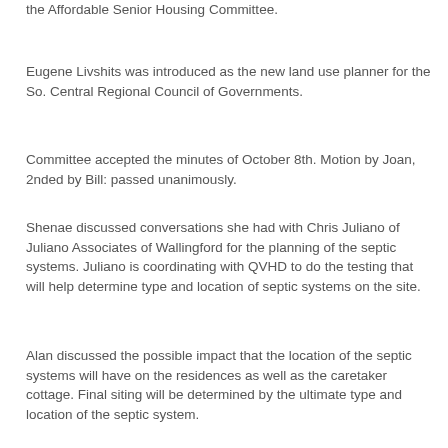the Affordable Senior Housing Committee.
Eugene Livshits was introduced as the new land use planner for the So. Central Regional Council of Governments.
Committee accepted the minutes of October 8th. Motion by Joan, 2nded by Bill: passed unanimously.
Shenae discussed conversations she had with Chris Juliano of Juliano Associates of Wallingford for the planning of the septic systems. Juliano is coordinating with QVHD to do the testing that will help determine type and location of septic systems on the site.
Alan discussed the possible impact that the location of the septic systems will have on the residences as well as the caretaker cottage. Final siting will be determined by the ultimate type and location of the septic system.
A discussion was held regarding the identification of specific requirements and schedule for the P&Z application and approval process. Chris Juliano will be asked to prepare a